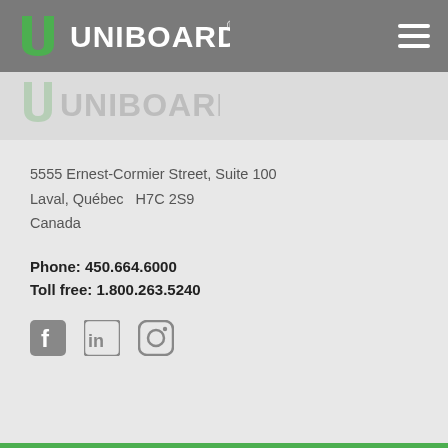[Figure (logo): Uniboard logo with green U icon and white UNIBOARD text on grey navigation bar, with hamburger menu icon on right]
[Figure (logo): Faded watermark of Uniboard logo in grey tones]
5555 Ernest-Cormier Street, Suite 100
Laval, Québec  H7C 2S9
Canada
Phone: 450.664.6000
Toll free: 1.800.263.5240
[Figure (illustration): Social media icons: Facebook, LinkedIn, Instagram]